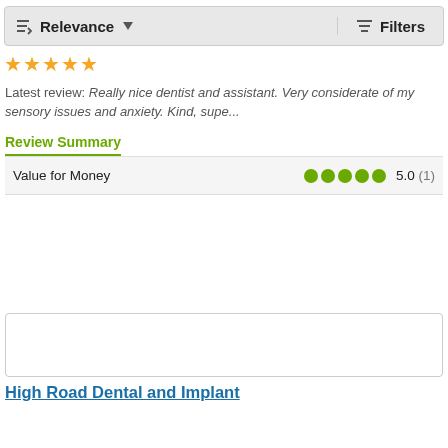[Figure (screenshot): Sort/filter toolbar with Relevance dropdown and Filters button]
[Figure (other): Star rating row showing 5 gold stars (partially visible)]
Latest review: Really nice dentist and assistant. Very considerate of my sensory issues and anxiety. Kind, supe...
Review Summary
Value for Money   5.0 (1)
[Figure (other): Empty card placeholder box]
High Road Dental and Implant